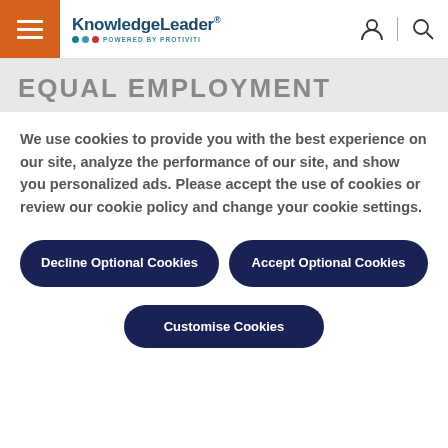KnowledgeLeader® POWERED BY PROTIVITI
EQUAL EMPLOYMENT
We use cookies to provide you with the best experience on our site, analyze the performance of our site, and show you personalized ads. Please accept the use of cookies or review our cookie policy and change your cookie settings.
Decline Optional Cookies
Accept Optional Cookies
Customise Cookies